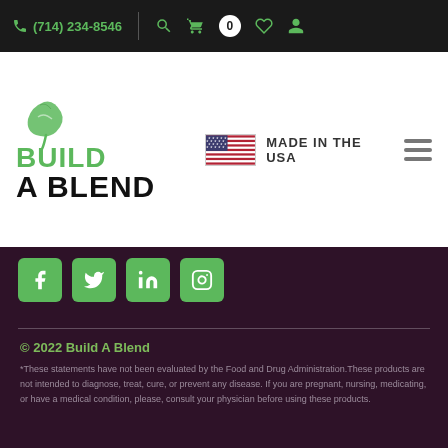(714) 234-8546
[Figure (logo): Build A Blend logo with green plant icon and text BUILD A BLEND]
MADE IN THE USA
[Figure (infographic): Social media icons: Facebook, Twitter, LinkedIn, Instagram in green rounded square buttons]
© 2022 Build A Blend
*These statements have not been evaluated by the Food and Drug Administration.These products are not intended to diagnose, treat, cure, or prevent any disease. If you are pregnant, nursing, medicating, or have a medical condition, please, consult your physician before using these products.